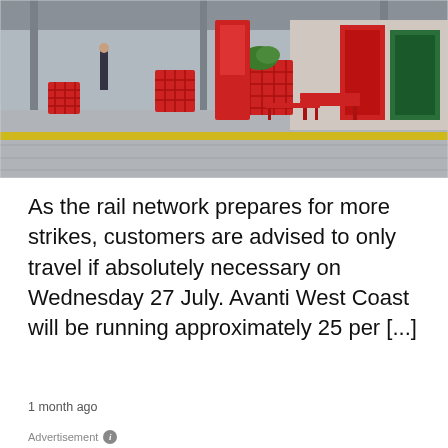[Figure (photo): Train station platform with red seating cubes, red benches, and red retail units/kiosks along the platform. A person is visible in the background. Yellow tactile strip on the platform floor.]
As the rail network prepares for more strikes, customers are advised to only travel if absolutely necessary on Wednesday 27 July. Avanti West Coast will be running approximately 25 per [...]
1 month ago
Advertisement
Advertisement